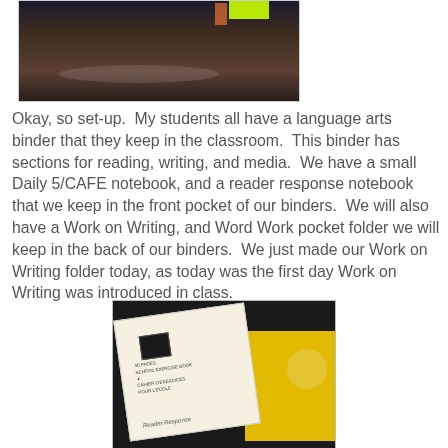[Figure (photo): Close-up photo of a dark leather/vinyl surface (binder) with neon yellow-green and orange accents visible at the top]
Okay, so set-up.  My students all have a language arts binder that they keep in the classroom.  This binder has sections for reading, writing, and media.  We have a small Daily 5/CAFE notebook, and a reader response notebook that we keep in the front pocket of our binders.  We will also have a Work on Writing, and Word Work pocket folder we will keep in the back of our binders.  We just made our Work on Writing folder today, as today was the first day Work on Writing was introduced in class.
[Figure (photo): Photo of a school exercise book / cahier d'exercices pour l'école notebook labeled 'Reader Response' on a yellow folder background]